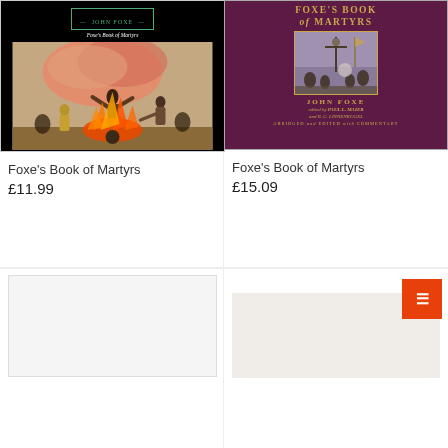[Figure (photo): Book cover of Foxe's Book of Martyrs by John Foxe, black background with illustration of martyrs being burned at the stake]
Foxe's Book of Martyrs
£11.99
[Figure (photo): Book cover of Foxe's Book of Martyrs, burgundy/purple cover with gold text, edited by Paul L. Maier and R. C. Linnenkugel, abridged and edited with commentary]
Foxe's Book of Martyrs
£15.09
[Figure (photo): Partially visible book cover, bottom left card]
[Figure (photo): Partially visible book cover with orange button overlay, bottom right card]